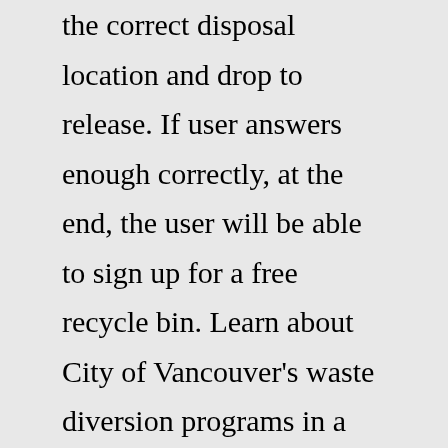the correct disposal location and drop to release. If user answers enough correctly, at the end, the user will be able to sign up for a free recycle bin. Learn about City of Vancouver's waste diversion programs in a fun way with our brand new VanSort waste sorting game. Sort materials correctly and win fun items to build your own digital park!</p> About the game. Learn about the City of El Paso Environmental Services waste diversion programs in a fun way with